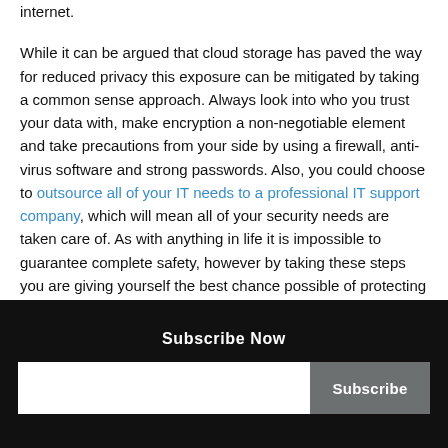internet.
While it can be argued that cloud storage has paved the way for reduced privacy this exposure can be mitigated by taking a common sense approach. Always look into who you trust your data with, make encryption a non-negotiable element and take precautions from your side by using a firewall, anti-virus software and strong passwords. Also, you could choose to outsource all of your IT needs to a professional IT support company, which will mean all of your security needs are taken care of. As with anything in life it is impossible to guarantee complete safety, however by taking these steps you are giving yourself the best chance possible of protecting your privacy or that of your business.
Subscribe Now
Subscribe